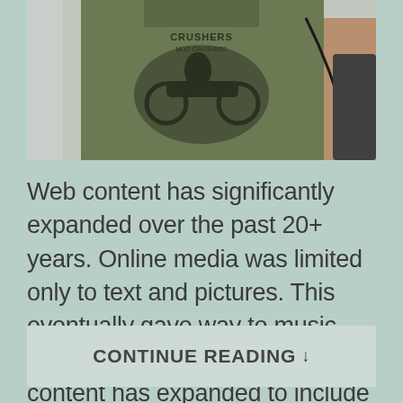[Figure (photo): Person wearing an olive green graphic t-shirt with a motorcycle/cruiser design, seated at a laptop, with earphones visible]
Web content has significantly expanded over the past 20+ years. Online media was limited only to text and pictures. This eventually gave way to music and video and, over time, online content has expanded to include every sort of media imaginable. Case in point, one of the hottest online trends of 2017 is online virtual...
CONTINUE READING ↓